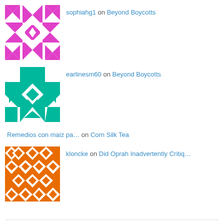sophiahg1 on Beyond Boycotts
[Figure (illustration): Magenta/pink geometric quilt-pattern avatar for sophiahg1]
earlinesm60 on Beyond Boycotts
[Figure (illustration): Teal/green geometric quilt-pattern avatar for earlinesm60]
Remedios con maiz pa… on Corn Silk Tea
kloncke on Did Oprah Inadvertently Critiq…
[Figure (illustration): Orange geometric star/flower pattern avatar for kloncke]